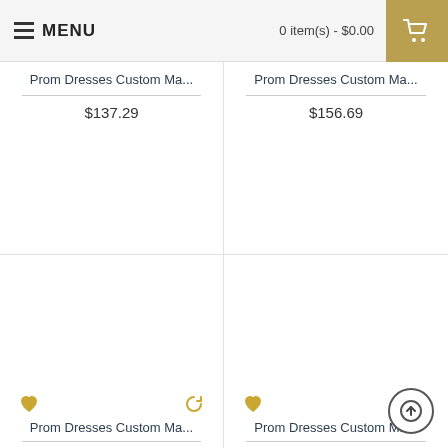MENU   0 item(s) - $0.00
Prom Dresses Custom Ma...
$137.29
Prom Dresses Custom Ma...
$156.69
Prom Dresses Custom Ma...
Prom Dresses Custom Ma...